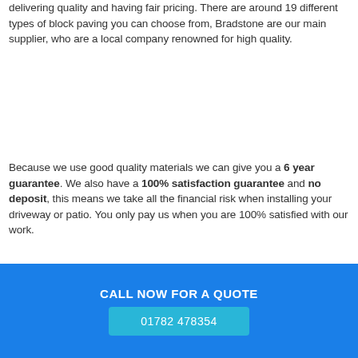delivering quality and having fair pricing. There are around 19 different types of block paving you can choose from, Bradstone are our main supplier, who are a local company renowned for high quality.
Because we use good quality materials we can give you a 6 year guarantee. We also have a 100% satisfaction guarantee and no deposit, this means we take all the financial risk when installing your driveway or patio. You only pay us when you are 100% satisfied with our work.
CALL NOW FOR A QUOTE  01782 478354